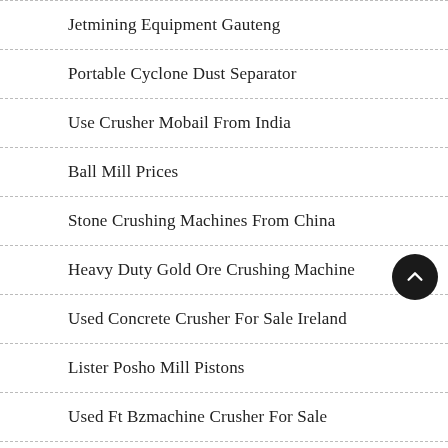Jetmining Equipment Gauteng
Portable Cyclone Dust Separator
Use Crusher Mobail From India
Ball Mill Prices
Stone Crushing Machines From China
Heavy Duty Gold Ore Crushing Machine
Used Concrete Crusher For Sale Ireland
Lister Posho Mill Pistons
Used Ft Bzmachine Crusher For Sale